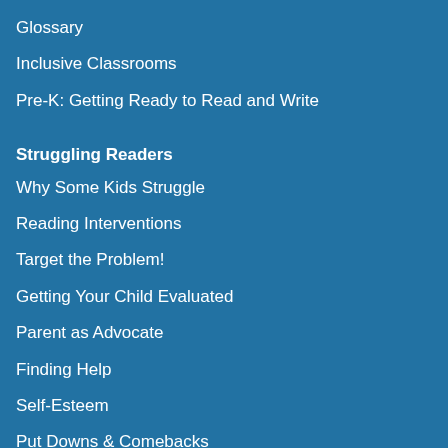Glossary
Inclusive Classrooms
Pre-K: Getting Ready to Read and Write
Struggling Readers
Why Some Kids Struggle
Reading Interventions
Target the Problem!
Getting Your Child Evaluated
Parent as Advocate
Finding Help
Self-Esteem
Put Downs & Comebacks
FAQs
Children's Books & Authors